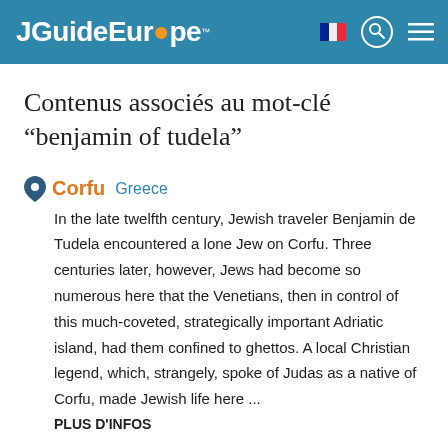JGuideEurope™
Contenus associés au mot-clé "benjamin of tudela"
Corfu  Greece
In the late twelfth century, Jewish traveler Benjamin de Tudela encountered a lone Jew on Corfu. Three centuries later, however, Jews had become so numerous here that the Venetians, then in control of this much-coveted, strategically important Adriatic island, had them confined to ghettos. A local Christian legend, which, strangely, spoke of Judas as a native of Corfu, made Jewish life here ...
PLUS D'INFOS